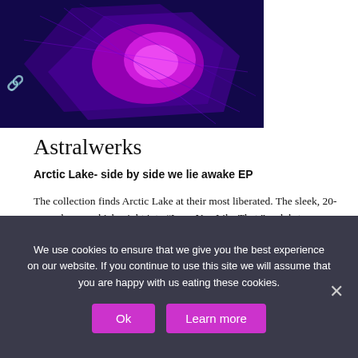[Figure (screenshot): A dark blue/purple abstract graphic with magenta/pink shapes and geometric patterns, appearing to be album art or a music video still.]
Astralwerks
Arctic Lake- side by side we lie awake EP
The collection finds Arctic Lake at their most liberated. The sleek, 20-second opener kicks right into “Love You Like That,” a club-to-bedroom romp about infatuation at first sight. “Let me drive you mad,” vocalist Emma Foster teases, her soulful voice slinking around Holliman’s punchy snaps and synths. They crank up the heat even more on “Lonely”: “Damn, come in closer baby,” she sings, as Paul Holliman’s instrumental slithers underneath.
We use cookies to ensure that we give you the best experience on our website. If you continue to use this site we will assume that you are happy with us eating these cookies.